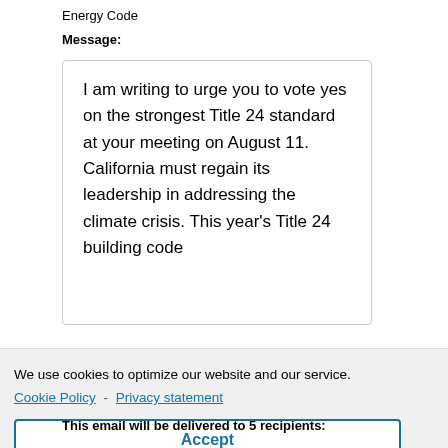Energy Code
Message:
I am writing to urge you to vote yes on the strongest Title 24 standard at your meeting on August 11. California must regain its leadership in addressing the climate crisis. This year's Title 24 building code
We use cookies to optimize our website and our service.
Cookie Policy - Privacy statement
Accept
This email will be delivered to 5 recipients: